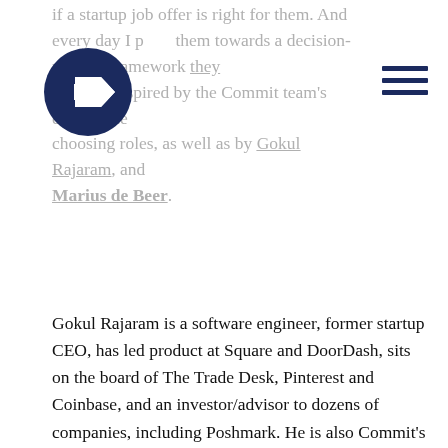if a startup job offer is right for them. And every day I point them towards a decision-making framework they can use, inspired by the Commit team's experience choosing roles, as well as by Gokul Rajaram, and Marius de Beer.
[Figure (logo): Commit company logo — dark navy circle with a white stylized arrow/tag shape inside]
Gokul Rajaram is a software engineer, former startup CEO, has led product at Square and DoorDash, sits on the board of The Trade Desk, Pinterest and Coinbase, and an investor/advisor to dozens of companies, including Poshmark. He is also Commit’s go-to-resource for running great All Hands meetings. Gokul sat down with Commit in October to share his thoughts on today’s challenges and opportunities for startups.
Marius de Beer is a mechanical and software engineer, with a decade of experience as an agile coach. He is also